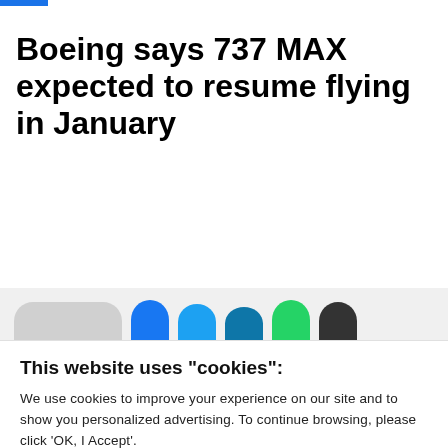Boeing says 737 MAX expected to resume flying in January
[Figure (screenshot): Partial share/social bar showing a gray pill button and colored social media circle icons (Facebook blue, Twitter blue, LinkedIn blue, WhatsApp green, dark share button) cropped at the bottom]
This website uses "cookies":
We use cookies to improve your experience on our site and to show you personalized advertising. To continue browsing, please click 'OK, I Accept'.
For more information, please read our Privacy Policy
Ok, I Accept